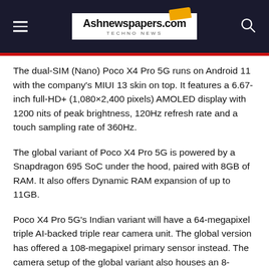Ashnewspapers.com — TECHNO NEWS
The dual-SIM (Nano) Poco X4 Pro 5G runs on Android 11 with the company's MIUI 13 skin on top. It features a 6.67-inch full-HD+ (1,080×2,400 pixels) AMOLED display with 1200 nits of peak brightness, 120Hz refresh rate and a touch sampling rate of 360Hz.
The global variant of Poco X4 Pro 5G is powered by a Snapdragon 695 SoC under the hood, paired with 8GB of RAM. It also offers Dynamic RAM expansion of up to 11GB.
Poco X4 Pro 5G's Indian variant will have a 64-megapixel triple AI-backed triple rear camera unit. The global version has offered a 108-megapixel primary sensor instead. The camera setup of the global variant also houses an 8-megapixel ultra wide-angle camera and a 2-megapixel macro camera. Besides, it sports a 16-megapixel selfie camera. The smartphone offers up to 256GB of